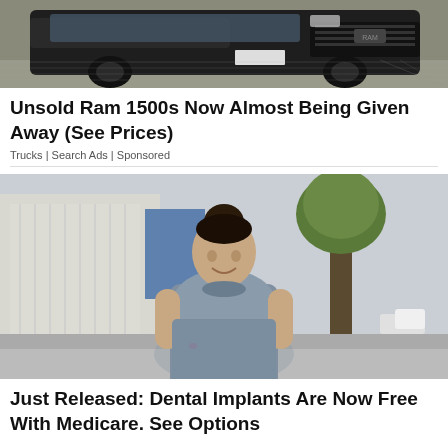[Figure (photo): Photo of a dark Ram 1500 truck from front/side angle, showing grille, tires, and hood against a grey background]
Unsold Ram 1500s Now Almost Being Given Away (See Prices)
Trucks | Search Ads | Sponsored
[Figure (photo): Photo of a woman with dark hair in a bun, wearing a grey short-sleeve fitted dress, smiling, standing outdoors on a sidewalk with trees and buildings in background]
Just Released: Dental Implants Are Now Free With Medicare. See Options